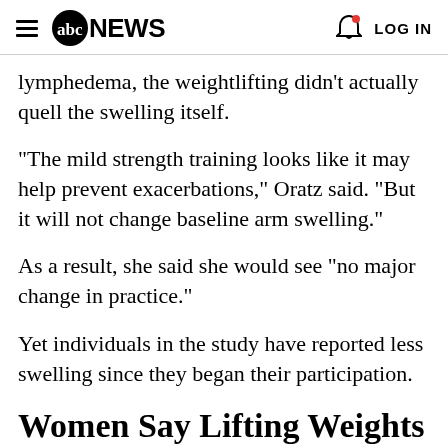abc NEWS   LOG IN
lymphedema, the weightlifting didn't actually quell the swelling itself.
"The mild strength training looks like it may help prevent exacerbations," Oratz said. "But it will not change baseline arm swelling."
As a result, she said she would see "no major change in practice."
Yet individuals in the study have reported less swelling since they began their participation.
Women Say Lifting Weights